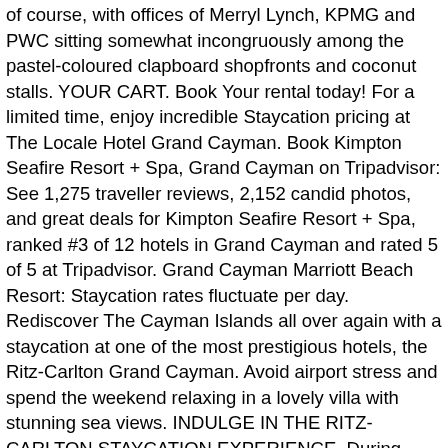of course, with offices of Merryl Lynch, KPMG and PWC sitting somewhat incongruously among the pastel-coloured clapboard shopfronts and coconut stalls. YOUR CART. Book Your rental today! For a limited time, enjoy incredible Staycation pricing at The Locale Hotel Grand Cayman. Book Kimpton Seafire Resort + Spa, Grand Cayman on Tripadvisor: See 1,275 traveller reviews, 2,152 candid photos, and great deals for Kimpton Seafire Resort + Spa, ranked #3 of 12 hotels in Grand Cayman and rated 5 of 5 at Tripadvisor. Grand Cayman Marriott Beach Resort: Staycation rates fluctuate per day. Rediscover The Cayman Islands all over again with a staycation at one of the most prestigious hotels, the Ritz-Carlton Grand Cayman. Avoid airport stress and spend the weekend relaxing in a lovely villa with stunning sea views. INDULGE IN THE RITZ-CARLTON STAYCATION EXPERIENCE. During your stay at The … In fact, Condé Nast magazine readers voted it the third best resort in the Caribbean and the 36th best resort in the world last year. Captivating Caribbean boutique resort + spa opened in November 2016. Copyright © 2021 Caymanian Times. Many offer a special rate to residents, especially in the summer months and a local change of scenery can be almost as good as a trip away. Jim Leavitt, general manager of Grand Cayman Villas and Condos, is responsible for 86